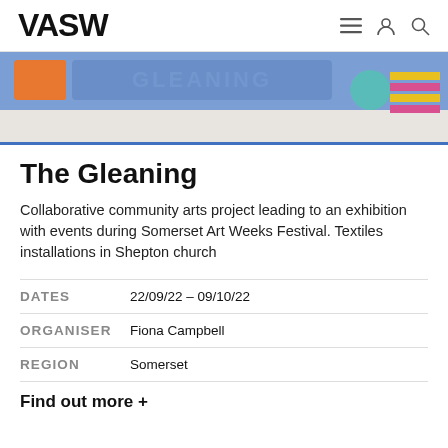VASW
[Figure (illustration): Website banner with blue background, orange box icon on left, stylized 'GLEANING' text in the center, a teal circle and striped yellow/pink block on the right]
The Gleaning
Collaborative community arts project leading to an exhibition with events during Somerset Art Weeks Festival. Textiles installations in Shepton church
|  |  |
| --- | --- |
| DATES | 22/09/22 – 09/10/22 |
| ORGANISER | Fiona Campbell |
| REGION | Somerset |
Find out more +